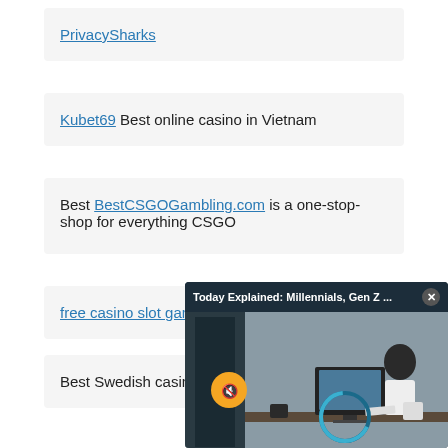PrivacySharks
Kubet69 Best online casino in Vietnam
Best BestCSGOGambling.com is a one-stop-shop for everything CSGO
[Figure (screenshot): Video popup overlay titled 'Today Explained: Millennials, Gen Z ...' with a close button, showing a person sitting at a desk with a computer monitor, a mute button icon and a progress ring overlay]
free casino slot games
Best Swedish casinos w